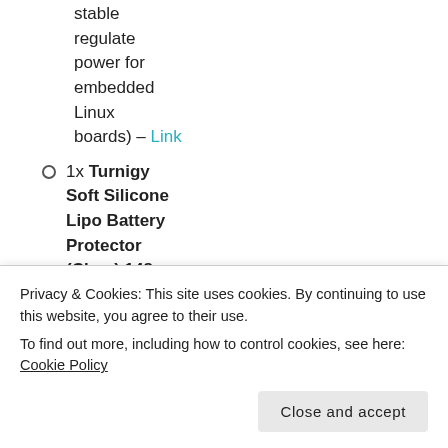stable regulate power for embedded Linux boards) – Link
1x Turnigy Soft Silicone Lipo Battery Protector (Clear) 148 x 51 x 37 mm – Link
Level
Privacy & Cookies: This site uses cookies. By continuing to use this website, you agree to their use. To find out more, including how to control cookies, see here: Cookie Policy